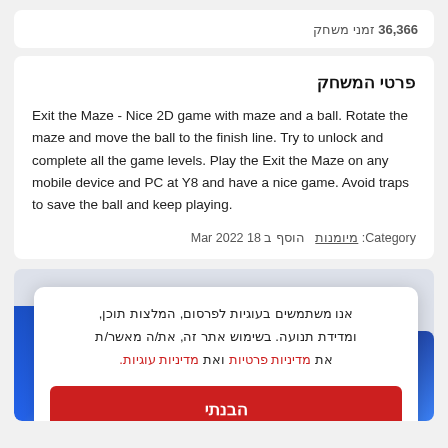36,366 זמני משחק
פרטי המשחק
Exit the Maze - Nice 2D game with maze and a ball. Rotate the maze and move the ball to the finish line. Try to unlock and complete all the game levels. Play the Exit the Maze on any mobile device and PC at Y8 and have a nice game. Avoid traps to save the ball and keep playing.
Category: מיומנות  הוסף ב 18 Mar 2022
אנו משתמשים בעוגיות לפרסום, המלצות תוכן, ומדידת תנועה. בשימוש אתר זה, את/ה מאשר/ת את מדיניות פרטיות ואת מדיניות עוגיות.
הבנתי